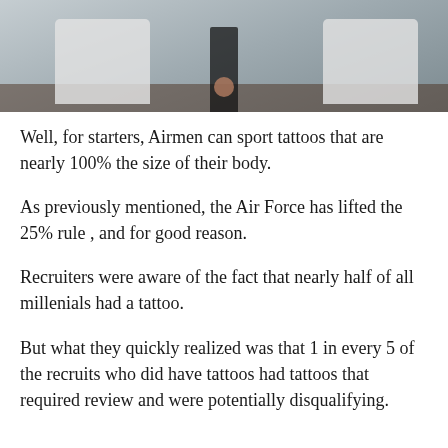[Figure (photo): Interior room photo showing two white chairs and a person standing between them on a dark wood floor]
Well, for starters, Airmen can sport tattoos that are nearly 100% the size of their body.
As previously mentioned, the Air Force has lifted the 25% rule , and for good reason.
Recruiters were aware of the fact that nearly half of all millenials had a tattoo.
But what they quickly realized was that 1 in every 5 of the recruits who did have tattoos had tattoos that required review and were potentially disqualifying.